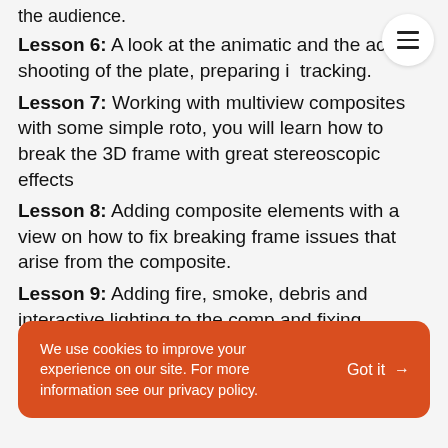the audience.
Lesson 6: A look at the animatic and the action shooting of the plate, preparing it tracking.
Lesson 7: Working with multiview composites with some simple roto, you will learn how to break the 3D frame with great stereoscopic effects
Lesson 8: Adding composite elements with a view on how to fix breaking frame issues that arise from the composite.
Lesson 9: Adding fire, smoke, debris and interactive lighting to the comp and fixing animating particles and adding 2D green
We use cookies to improve your experience on our site. For more information see our privacy policy. Got it →